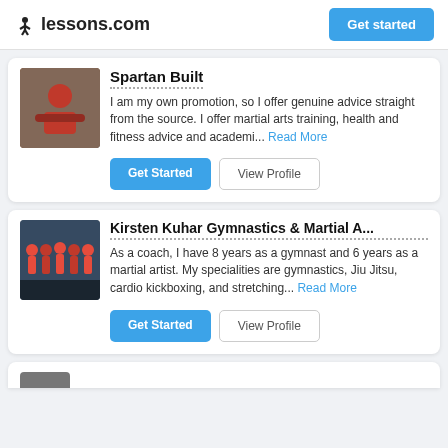lessons.com — Get started
Spartan Built
I am my own promotion, so I offer genuine advice straight from the source. I offer martial arts training, health and fitness advice and academi... Read More
Kirsten Kuhar Gymnastics & Martial A...
As a coach, I have 8 years as a gymnast and 6 years as a martial artist. My specialities are gymnastics, Jiu Jitsu, cardio kickboxing, and stretching... Read More